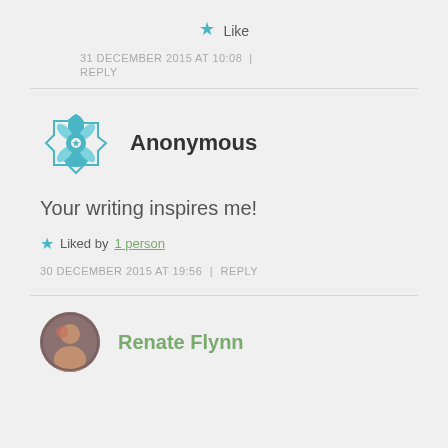★ Like
31 DECEMBER 2015 AT 10:08 | REPLY
Anonymous
Your writing inspires me!
★ Liked by 1 person
30 DECEMBER 2015 AT 19:56 | REPLY
Renate Flynn